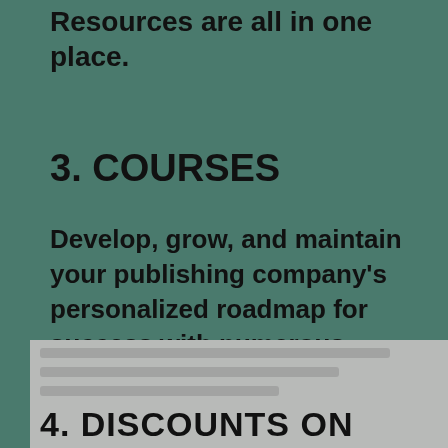Resources are all in one place.
3. COURSES
Develop, grow, and maintain your publishing company's personalized roadmap for success with numerous trainings on various industry topics.
4. DISCOUNTS ON